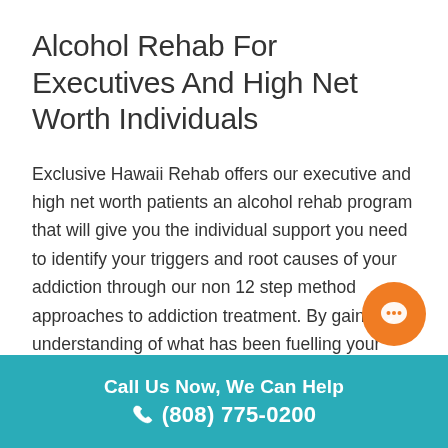Alcohol Rehab For Executives And High Net Worth Individuals
Exclusive Hawaii Rehab offers our executive and high net worth patients an alcohol rehab program that will give you the individual support you need to identify your triggers and root causes of your addiction through our non 12 step method approaches to addiction treatment. By gaining an understanding of what has been fuelling your addiction all along, you will be able to create methods and techniques to avoid future relapses and formulate a new way of life that will support your desire to
[Figure (illustration): Orange circular chat/message bubble button icon in lower right area of content]
Call Us Now, We Can Help
☎ (808) 775-0200